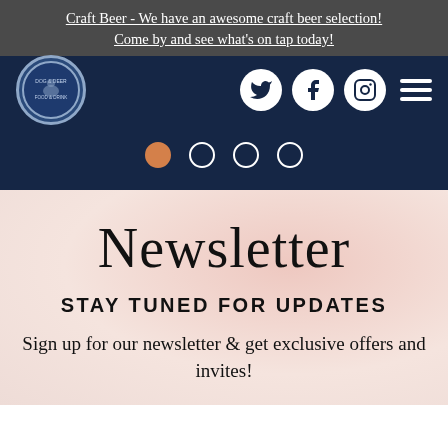Craft Beer - We have an awesome craft beer selection! Come by and see what's on tap today!
[Figure (screenshot): Navigation bar with circular logo on left, social media icons (Twitter, Facebook, Instagram) and hamburger menu on right, on dark navy background, followed by carousel dot indicators]
Newsletter
STAY TUNED FOR UPDATES
Sign up for our newsletter & get exclusive offers and invites!